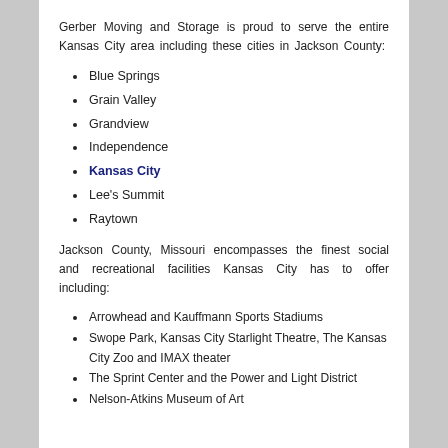Gerber Moving and Storage is proud to serve the entire Kansas City area including these cities in Jackson County:
Blue Springs
Grain Valley
Grandview
Independence
Kansas City
Lee's Summit
Raytown
Jackson County, Missouri encompasses the finest social and recreational facilities Kansas City has to offer including:
Arrowhead and Kauffmann Sports Stadiums
Swope Park, Kansas City Starlight Theatre, The Kansas City Zoo and IMAX theater
The Sprint Center and the Power and Light District
Nelson-Atkins Museum of Art